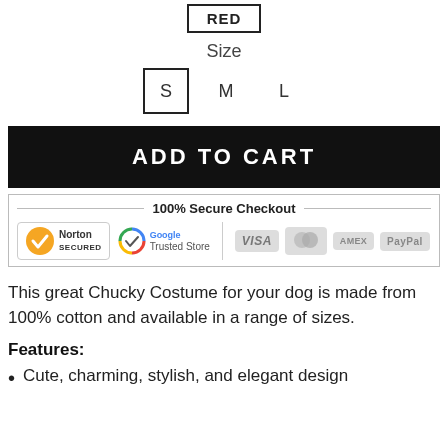RED
Size
S  M  L
ADD TO CART
[Figure (infographic): 100% Secure Checkout banner with Norton Secured, Google Trusted Store, VISA, Mastercard, American Express, and PayPal logos]
This great Chucky Costume for your dog is made from 100% cotton and available in a range of sizes.
Features:
Cute, charming, stylish, and elegant design